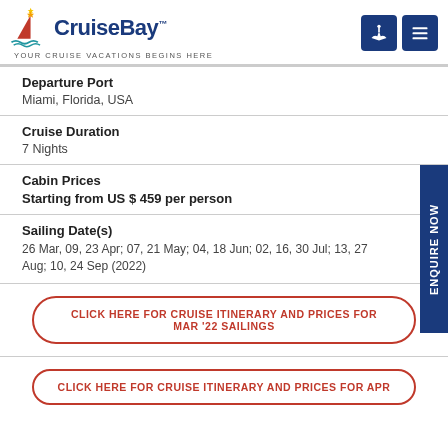[Figure (logo): CruiseBay logo with ship graphic and tagline 'YOUR CRUISE VACATIONS BEGINS HERE']
| Departure Port | Miami, Florida, USA |
| Cruise Duration | 7 Nights |
| Cabin Prices | Starting from US $ 459 per person |
| Sailing Date(s) | 26 Mar, 09, 23 Apr; 07, 21 May; 04, 18 Jun; 02, 16, 30 Jul; 13, 27 Aug; 10, 24 Sep (2022) |
CLICK HERE FOR CRUISE ITINERARY AND PRICES FOR MAR '22 SAILINGS
CLICK HERE FOR CRUISE ITINERARY AND PRICES FOR APR